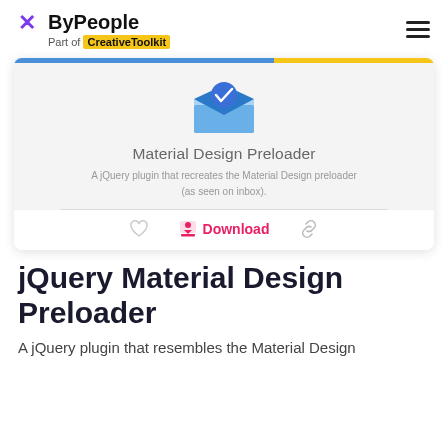ByPeople — Part of CreativeToolkit
[Figure (screenshot): Card showing Material Design Preloader plugin with envelope/inbox icon, title 'Material Design Preloader', description 'A jQuery plugin that recreates the Material Design preloader (as seen on inbox).', and action buttons: heart, Download, link]
jQuery Material Design Preloader
A jQuery plugin that resembles the Material Design